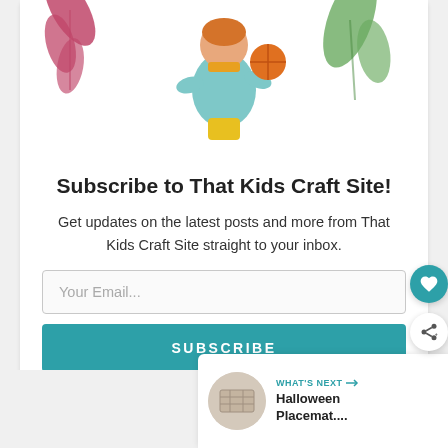[Figure (illustration): Colorful illustration of a child holding a ball with decorative leaf/plant elements on pink and green background]
Subscribe to That Kids Craft Site!
Get updates on the latest posts and more from That Kids Craft Site straight to your inbox.
Your Email...
SUBSCRIBE
I consent to receiving emails and personalized ads.
WHAT'S NEXT → Halloween Placemat....